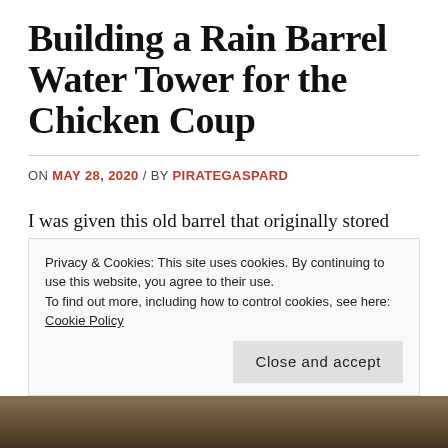Building a Rain Barrel Water Tower for the Chicken Coup
ON MAY 28, 2020 / BY PIRATEGASPARD
I was given this old barrel that originally stored non-toxic antifreeze. My plan was to build a Whizbang chicken plucker, but buying a small backyard chicken plucker turned out to be nearly the same price as buying all the hardware needed to build my own. (It might be
Privacy & Cookies: This site uses cookies. By continuing to use this website, you agree to their use.
To find out more, including how to control cookies, see here: Cookie Policy
Close and accept
[Figure (photo): Photo strip at the bottom of the page showing outdoor scene]